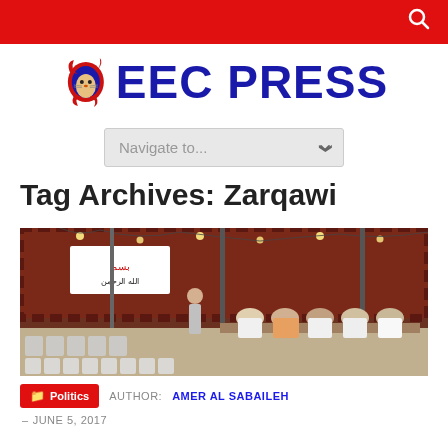EEC PRESS
Tag Archives: Zarqawi
[Figure (photo): People seated outdoors under a tent structure with a banner displaying Arabic text; string lights visible overhead; outdoor gathering scene]
Politics  AUTHOR: AMER AL SABAILEH
– JUNE 5, 2017